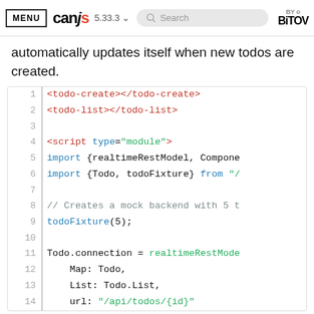MENU | canjs 5.33.3 | Search | BY BITOV
automatically updates itself when new todos are created.
[Figure (screenshot): Code block showing HTML template with todo-create and todo-list custom elements, and a script module importing realtimeRestModel, Component, Todo, todoFixture, creating a mock backend with todoFixture(5), and setting Todo.connection = realtimeRestModel with Map: Todo, List: Todo.List, url: "/api/todos/{id}"]